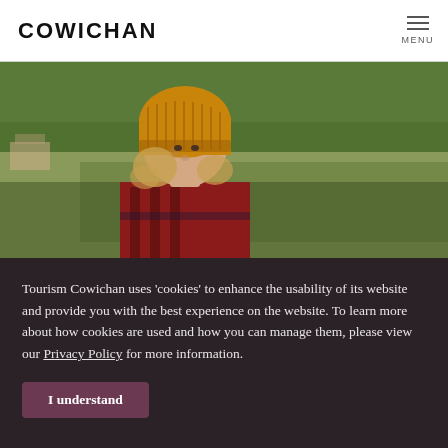COWICHAN | MENU
[Figure (photo): Young child wearing a yellow/amber knit beanie hat and red plaid flannel shirt, standing outdoors in a field with trees in the background]
Tourism Cowichan uses ‘cookies’ to enhance the usability of its website and provide you with the best experience on the website. To learn more about how cookies are used and how you can manage them, please view our Privacy Policy for more information.
I understand